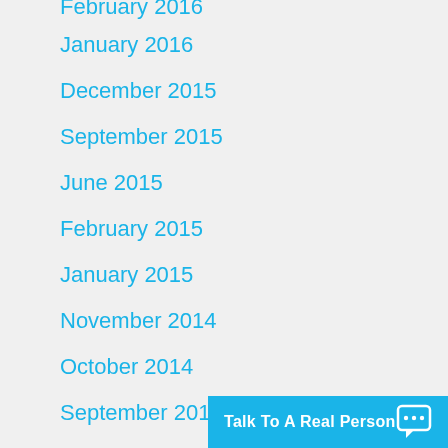February 2016
January 2016
December 2015
September 2015
June 2015
February 2015
January 2015
November 2014
October 2014
September 2014
August 2014
July 2014
June 2014
Talk To A Real Person